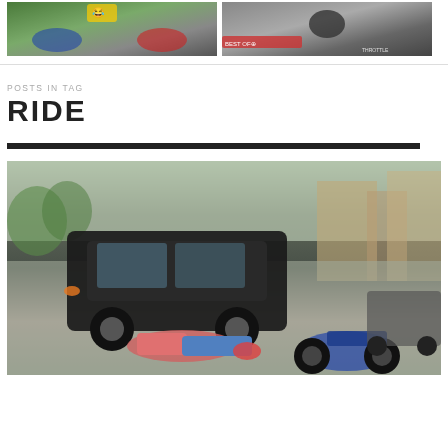[Figure (photo): Two photos side by side at top: left shows people on motorcycles on a road with laughing emoji, right shows motorcycle rider on track with watermark]
[Figure (photo): Large photo of a car accident scene with a person lying on the ground next to a fallen motorcycle and a black SUV]
POSTS IN TAG
RIDE